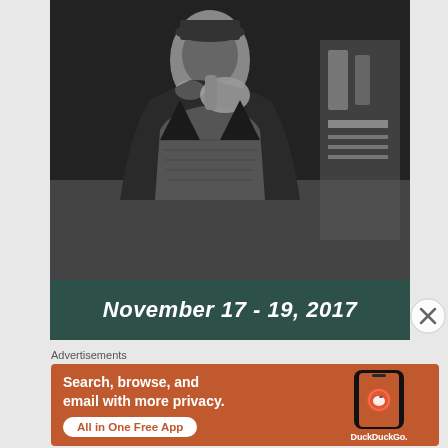[Figure (photo): Black and white photograph of a person in a coat holding something, with complex background objects — appears to be a vintage/film-era image]
November 17 - 19, 2017
Advertisements
[Figure (infographic): DuckDuckGo advertisement banner with orange background showing 'Search, browse, and email with more privacy. All in One Free App' with phone mockup displaying DuckDuckGo logo]